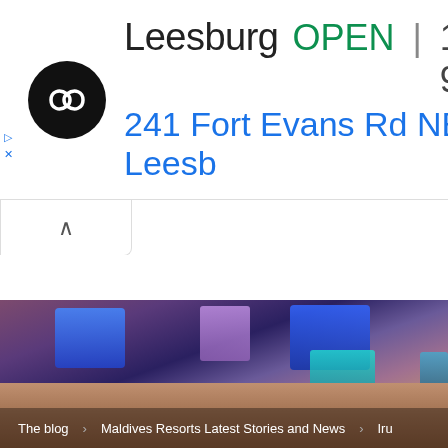[Figure (screenshot): Advertisement banner showing a store logo (black circle with infinity-like symbol), store name 'Leesburg', status 'OPEN', hours '10AM–9PM', address '241 Fort Evans Rd NE, Leesb', and a blue navigation diamond icon. Below is a collapse chevron button. Below the white space is a blurred photo of a retail interior with blue-lit screens/monitors on shelving. A breadcrumb navigation bar reads 'The blog > Maldives Resorts Latest Stories and News > Iru'.]